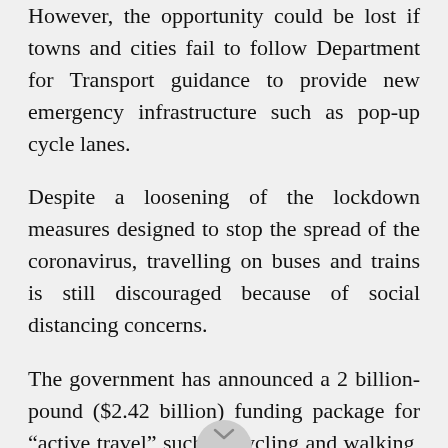However, the opportunity could be lost if towns and cities fail to follow Department for Transport guidance to provide new emergency infrastructure such as pop-up cycle lanes.
Despite a loosening of the lockdown measures designed to stop the spread of the coronavirus, travelling on buses and trains is still discouraged because of social distancing concerns.
The government has announced a 2 billion-pound ($2.42 billion) funding package for “active travel” such as cycling and walking, with 250 million available immediately for local authorities to make changes to their roads.